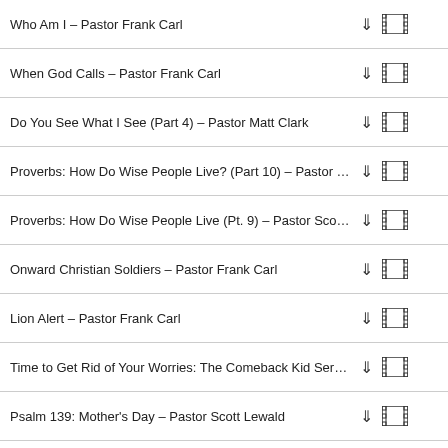Who Am I – Pastor Frank Carl
When God Calls – Pastor Frank Carl
Do You See What I See (Part 4) – Pastor Matt Clark
Proverbs: How Do Wise People Live? (Part 10) – Pastor Fr...
Proverbs: How Do Wise People Live (Pt. 9) – Pastor Scott ...
Onward Christian Soldiers – Pastor Frank Carl
Lion Alert – Pastor Frank Carl
Time to Get Rid of Your Worries: The Comeback Kid Series ...
Psalm 139: Mother's Day – Pastor Scott Lewald
The Ingredients of a Fruitful Church: The Comeback Kid Se...
The Comeback Kid: New Series (Part 1) – Pastor Frank Carl
The Hope of Easter: Who is this Jesus Series (Part 5) – Pa...
1 2 3 4 5 6 7 8 9 10 11 12 13 14 15 16 17 18 19 20 21 22 23 24 25 26 27 28 29 30 31